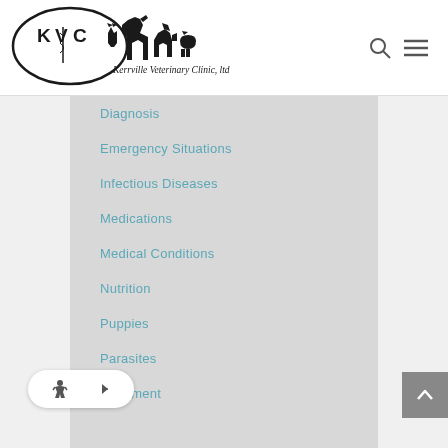[Figure (logo): Kerrville Veterinary Clinic logo with KVC initials inside oval, silhouettes of animals (horse, cat, dog, pig), text 'Kerrville Veterinary Clinic, ltd']
Diagnosis
Emergency Situations
Infectious Diseases
Medications
Medical Conditions
Nutrition
Puppies
Parasites
Treatment